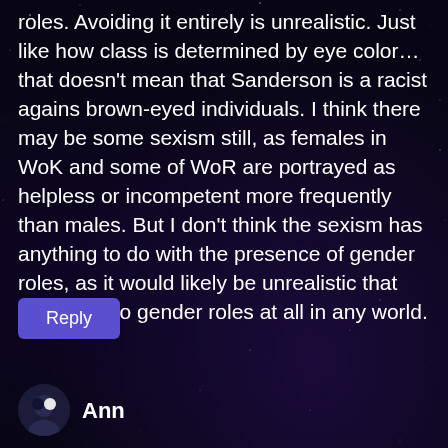roles. Avoiding it entirely is unrealistic. Just like how class is determined by eye color… that doesn't mean that Sanderson is a racist agains brown-eyed individuals. I think there may be some sexism still, as females in WoK and some of WoR are portrayed as helpless or incompetent more frequently than males. But I don't think the sexism has anything to do with the presence of gender roles, as it would likely be unrealistic that there are no gender roles at all in any world.
[Figure (other): A blue/purple Reply button]
[Figure (other): User avatar circle for Ann]
Ann